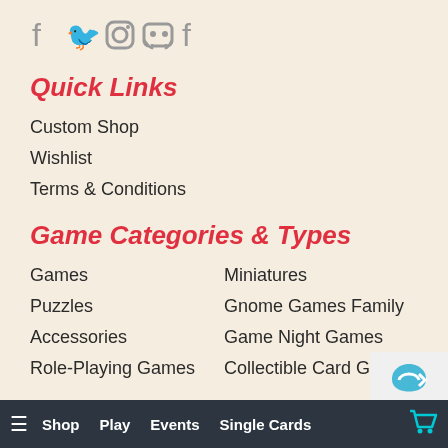[Figure (illustration): Social media icons: Facebook, Twitter, Instagram, Discord, Facebook (gray colored icons)]
Quick Links
Custom Shop
Wishlist
Terms & Conditions
Game Categories & Types
Games
Miniatures
Puzzles
Gnome Games Family
Accessories
Game Night Games
Role-Playing Games
Collectible Card Games
SEE ALL >
≡  Shop  Play  Events  Single Cards  🛒